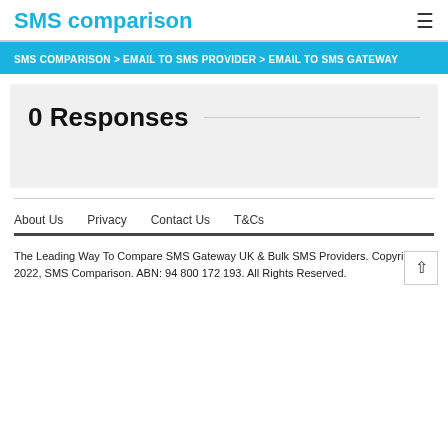SMS comparison
SMS COMPARISON > EMAIL TO SMS PROVIDER > EMAIL TO SMS GATEWAY
0 Responses
About Us   Privacy   Contact Us   T&Cs
The Leading Way To Compare SMS Gateway UK & Bulk SMS Providers. Copyright 2022, SMS Comparison. ABN: 94 800 172 193. All Rights Reserved.